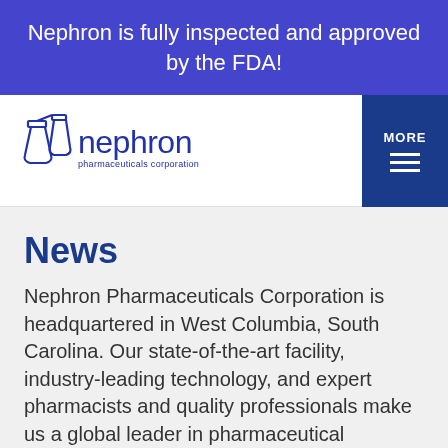Nephron is fully inspected and approved by the FDA!
[Figure (logo): Nephron Pharmaceuticals Corporation logo with stylized flask/beaker icon and company name]
News
Nephron Pharmaceuticals Corporation is headquartered in West Columbia, South Carolina. Our state-of-the-art facility, industry-leading technology, and expert pharmacists and quality professionals make us a global leader in pharmaceutical manufacturing. We